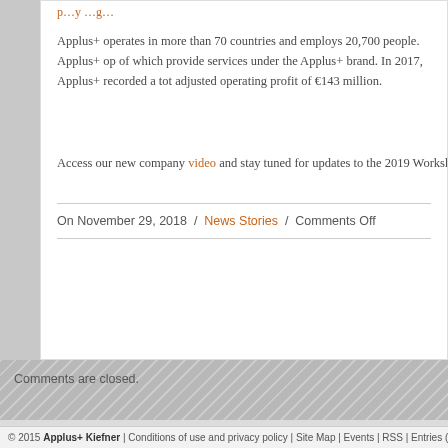Applus+ operates in more than 70 countries and employs 20,700 people. Applus+ op… of which provide services under the Applus+ brand. In 2017, Applus+ recorded a tota… adjusted operating profit of €143 million.
Access our new company video and stay tuned for updates to the 2019 Workshop Sc…
On November 29, 2018 / News Stories / Comments Off
Comments are closed.
© 2015 Applus+ Kiefner | Conditions of use and privacy policy | Site Map | Events | RSS | Entries (